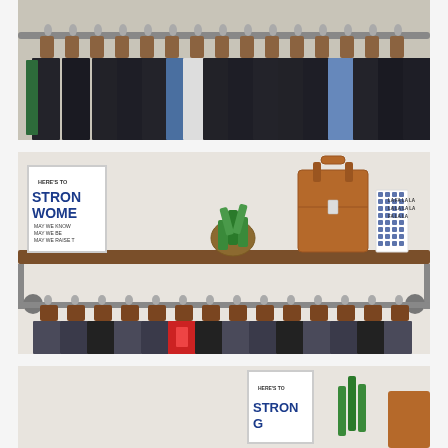[Figure (photo): Clothing rack with many dark jeans and garments hanging on wooden hangers on a metal rod, viewed from below, well-lit retail store setting]
[Figure (photo): Retail store shelf display with a 'Here's to Strong Women' framed print, a small potted succulent in a wicker basket, a brown leather tote bag, and blue patterned boxes/books. Below the shelf is another clothing rack with wooden hangers holding jeans and colorful garments.]
[Figure (photo): Partial view of a retail store interior showing a 'Here's to Strong Women' framed print and another shelf display, cropped at the bottom of the page]